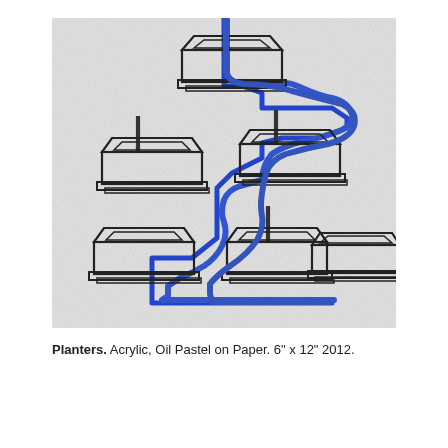[Figure (illustration): Artwork showing multiple rectangular planter boxes drawn in black ink arranged in a stepped/cascading composition on a light gray textured background, connected by a continuous blue line (acrylic/oil pastel) that weaves through and around the planters. Some planters have vertical stakes or rods. The blue line enters from the top center and meanders through all six planters, ending at the bottom center.]
Planters. Acrylic, Oil Pastel on Paper. 6" x 12" 2012.